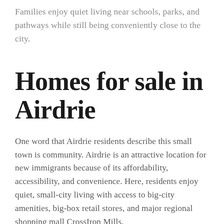Families enjoy quiet living near schools, parks, and pathways while still being conveniently close to the city.
Homes for sale in Airdrie
One word that Airdrie residents describe this small town is community. Airdrie is an attractive location for new immigrants because of its affordability, accessibility, and convenience. Here, residents enjoy quiet, small-city living with access to big-city amenities, big-box retail stores, and major regional shopping mall CrossIron Mills.
Airdrie also is one of family-frie...